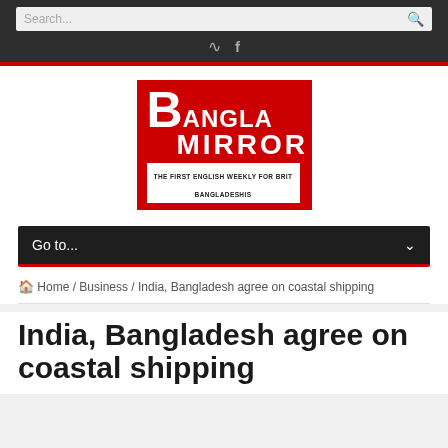[Figure (screenshot): Website screenshot of Bangla Mirror, showing search bar, social icons, logo, navigation dropdown, breadcrumb, and article title]
Search...
[Figure (logo): Bangla Mirror logo - red background with white text, tagline: THE FIRST ENGLISH WEEKLY FOR BRIT BANGLADESHIS]
Go to...
Home / Business / India, Bangladesh agree on coastal shipping
India, Bangladesh agree on coastal shipping